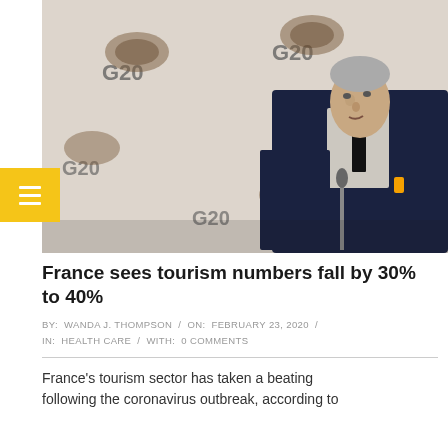[Figure (photo): A man in a dark suit at a G20 press conference or event, standing in front of a G20 banner/backdrop. He appears to be speaking at a microphone. He has grey hair and is wearing a dark tie.]
France sees tourism numbers fall by 30% to 40%
BY: WANDA J. THOMPSON / ON: FEBRUARY 23, 2020 / IN: HEALTH CARE / WITH: 0 COMMENTS
France's tourism sector has taken a beating following the coronavirus outbreak, according to